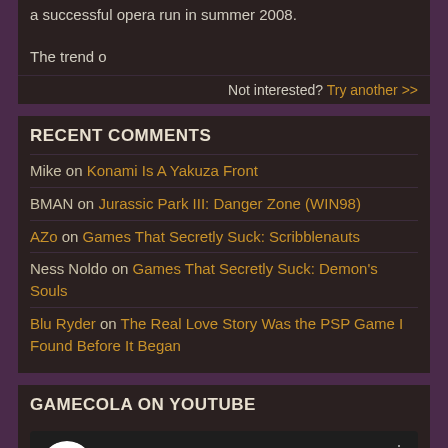a successful opera run in summer 2008.

The trend o
Not interested? Try another >>
RECENT COMMENTS
Mike on Konami Is A Yakuza Front
BMAN on Jurassic Park III: Danger Zone (WIN98)
AZo on Games That Secretly Suck: Scribblenauts
Ness Noldo on Games That Secretly Suck: Demon's Souls
Blu Ryder on The Real Love Story Was the PSP Game I Found Before It Began
GAMECOLA ON YOUTUBE
[Figure (screenshot): YouTube widget showing 'The Tac 2021 - GameCola Videoga...' with a channel avatar icon of a cartoon character and three-dot menu]